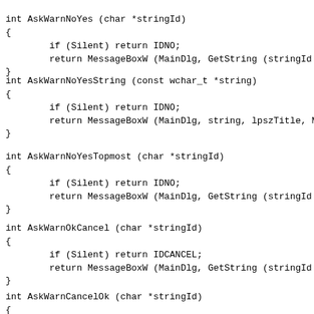int AskWarnNoYes (char *stringId)
{
        if (Silent) return IDNO;
        return MessageBoxW (MainDlg, GetString (stringId
}
int AskWarnNoYesString (const wchar_t *string)
{
        if (Silent) return IDNO;
        return MessageBoxW (MainDlg, string, lpszTitle, M
}
int AskWarnNoYesTopmost (char *stringId)
{
        if (Silent) return IDNO;
        return MessageBoxW (MainDlg, GetString (stringId
}
int AskWarnOkCancel (char *stringId)
{
        if (Silent) return IDCANCEL;
        return MessageBoxW (MainDlg, GetString (stringId
}
int AskWarnCancelOk (char *stringId)
{
        if (Silent) return IDCANCEL;